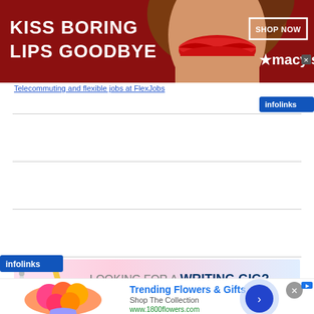[Figure (screenshot): Macy's advertisement banner: 'KISS BORING LIPS GOODBYE' with woman's lips, SHOP NOW button and Macy's logo on dark red background]
Telecommuting and flexible jobs at FlexJobs
[Figure (screenshot): infolinks badge top right]
[Figure (screenshot): Writing gig advertisement: 'LOOKING FOR A WRITING GIG? WRITING JOBS - BLOGGER JOBS - ONLINE CONTENT JOBS' with notebook and pencils image]
[Figure (screenshot): infolinks badge bottom left]
[Figure (screenshot): Trending Flowers & Gifts ad: 'Shop The Collection, www.1800flowers.com' with flower bouquet image and navigation arrow, close button (x)]